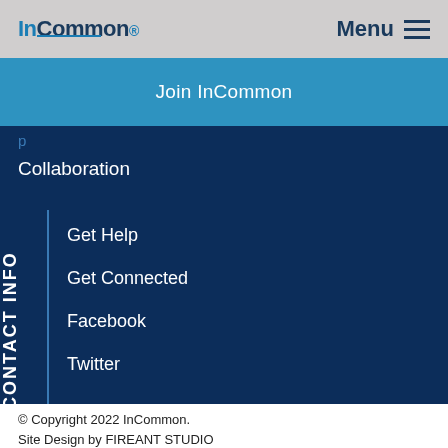InCommon. Menu
Join InCommon
p
Collaboration
CONTACT INFO
Get Help
Get Connected
Facebook
Twitter
© Copyright 2022 InCommon. Site Design by FIREANT STUDIO